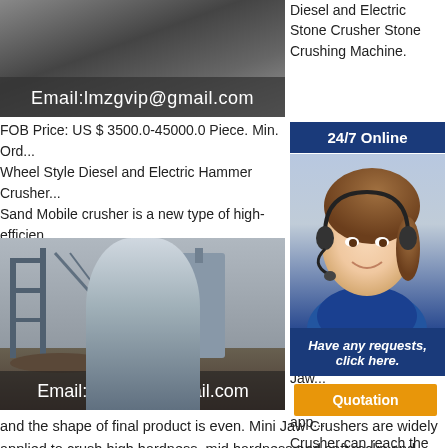[Figure (photo): Industrial stone crusher machinery photo with email overlay showing Email:lmzgvip@gmail.com]
Diesel and Electric Stone Crusher Stone Crushing Machine.
24/7 Online
[Figure (photo): Customer service agent wearing headset, smiling, in blue uniform against blue background]
Have any requests, click here.
Quotation
FOB Price: US $ 3500.0-45000.0 Piece. Min. Ord... Wheel Style Diesel and Electric Hammer Crusher... Sand Mobile crusher is a new type of high-efficien...
[Figure (photo): Industrial crushing plant with large machinery and Email:lmzgvip@gmail.com overlay]
cru... mac... roc... Jaw... app... Crusher can reach the crushing ratio of 4-6
and the shape of final product is even. Mini Jaw Crushers are widely applied to crush high hardness, mid hardness and soft rocks and ores such as slag, construction materials, marble, etc. Jaw crushers can be used in mining, metallurgical industry, construction,